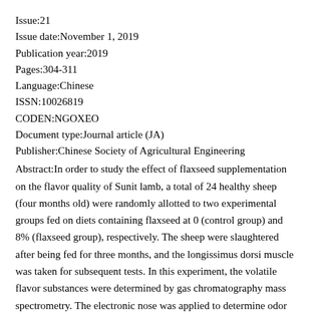Issue:21
Issue date:November 1, 2019
Publication year:2019
Pages:304-311
Language:Chinese
ISSN:10026819
CODEN:NGOXEO
Document type:Journal article (JA)
Publisher:Chinese Society of Agricultural Engineering
Abstract:In order to study the effect of flaxseed supplementation on the flavor quality of Sunit lamb, a total of 24 healthy sheep (four months old) were randomly allotted to two experimental groups fed on diets containing flaxseed at 0 (control group) and 8% (flaxseed group), respectively. The sheep were slaughtered after being fed for three months, and the longissimus dorsi muscle was taken for subsequent tests. In this experiment, the volatile flavor substances were determined by gas chromatography mass spectrometry. The electronic nose was applied to determine odor profile of the meat. In addition, the antioxidant capacity of the meat was measured to explore the relationship between antioxidant